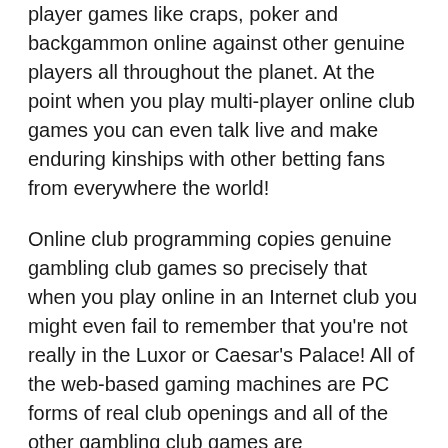player games like craps, poker and backgammon online against other genuine players all throughout the planet. At the point when you play multi-player online club games you can even talk live and make enduring kinships with other betting fans from everywhere the world!
Online club programming copies genuine gambling club games so precisely that when you play online in an Internet club you might even fail to remember that you're not really in the Luxor or Caesar's Palace! All of the web-based gaming machines are PC forms of real club openings and all of the other gambling club games are inconceivably reasonable.
The most amazing aspect of the web-based gambling club experience is the tremendous bonanzas! With Internet betting you can bring in cash in your extra time while having a great time simultaneously! Regardless you most loved club game is you can play it online for monster prizes. Gaming machines with moderate big